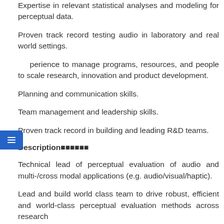Expertise in relevant statistical analyses and modeling for perceptual data.
Proven track record testing audio in laboratory and real world settings.
Experience to manage programs, resources, and people to scale research, innovation and product development.
Planning and communication skills.
Team management and leadership skills.
Proven track record in building and leading R&D teams.
Description■■■■■■
Technical lead of perceptual evaluation of audio and multi-/cross modal applications (e.g. audio/visual/haptic).
Lead and build world class team to drive robust, efficient and world-class perceptual evaluation methods across research